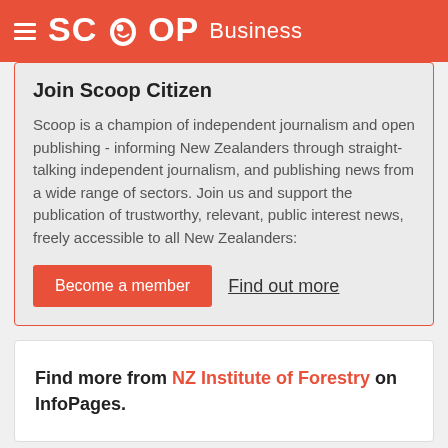SCOOP Business
Join Scoop Citizen
Scoop is a champion of independent journalism and open publishing - informing New Zealanders through straight-talking independent journalism, and publishing news from a wide range of sectors. Join us and support the publication of trustworthy, relevant, public interest news, freely accessible to all New Zealanders:
Become a member   Find out more
Find more from NZ Institute of Forestry on InfoPages.